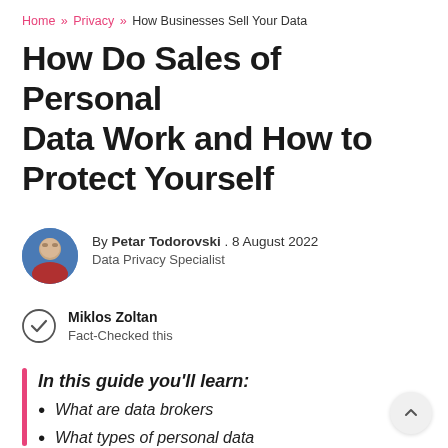Home » Privacy » How Businesses Sell Your Data
How Do Sales of Personal Data Work and How to Protect Yourself
By Petar Todorovski . 8 August 2022
Data Privacy Specialist
Miklos Zoltan
Fact-Checked this
In this guide you'll learn:
What are data brokers
What types of personal data